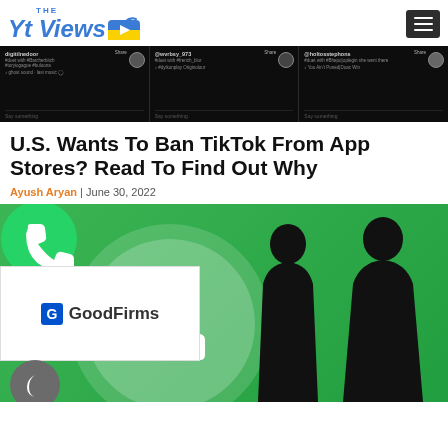The Yt Views
[Figure (screenshot): TikTok interface screenshot showing three user profiles with hashtags and sound information on dark background]
U.S. Wants To Ban TikTok From App Stores? Read To Find Out Why
Ayush Aryan | June 30, 2022
[Figure (photo): Two silhouettes of people in front of a large WhatsApp logo (green circle with phone icon). Overlay widgets: WhatsApp icon, GoodFirms badge, moon/dark mode icon, chat icon.]